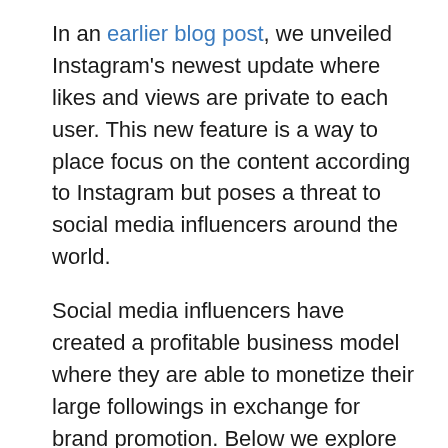In an earlier blog post, we unveiled Instagram's newest update where likes and views are private to each user. This new feature is a way to place focus on the content according to Instagram but poses a threat to social media influencers around the world.
Social media influencers have created a profitable business model where they are able to monetize their large followings in exchange for brand promotion. Below we explore the possible effects of influencer marketing based on hiding likes and views on this platform.
The first possible impact of Instagram's latest update is less groupthink.Groupthink is when people make irrational decisions because of their desire to